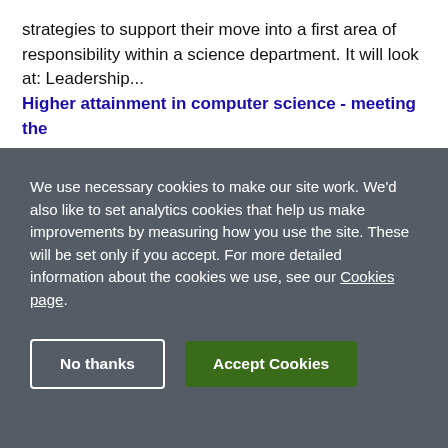strategies to support their move into a first area of responsibility within a science department. It will look at: Leadership...
Higher attainment in computer science - meeting the
We use necessary cookies to make our site work. We'd also like to set analytics cookies that help us make improvements by measuring how you use the site. These will be set only if you accept. For more detailed information about the cookies we use, see our Cookies page.